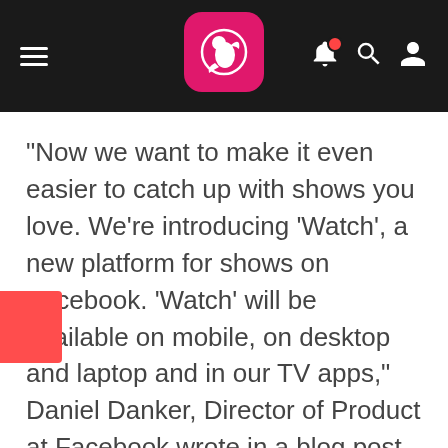App header with hamburger menu, logo, bell notification, search, and user icons
"Now we want to make it even easier to catch up with shows you love. We're introducing 'Watch', a new platform for shows on Facebook. 'Watch' will be available on mobile, on desktop and laptop and in our TV apps," Daniel Danker, Director of Product at Facebook wrote in a blog post on Wednesday.